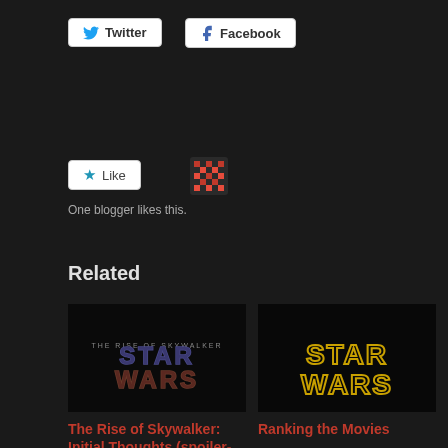[Figure (screenshot): Twitter share button with bird icon]
[Figure (screenshot): Facebook share button with f icon]
[Figure (screenshot): Like button with blue star icon]
[Figure (illustration): Blogger avatar with pink pixel art pattern]
One blogger likes this.
Related
[Figure (illustration): Star Wars: The Rise of Skywalker logo on dark background]
The Rise of Skywalker: Initial Thoughts (spoiler-free)
December 19, 2019
[Figure (illustration): Star Wars logo in gold outline on dark background]
Ranking the Movies
April 16, 2020
In "Fandom"